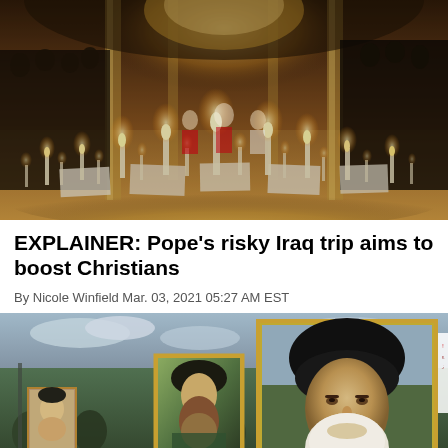[Figure (photo): Interior of a church with rows of candles on the floor, people gathered on both sides, ornate altar and columns visible in background]
EXPLAINER: Pope's risky Iraq trip aims to boost Christians
By Nicole Winfield Mar. 03, 2021 05:27 AM EST
[Figure (photo): Crowd of people holding up framed portraits of religious/political figures including a cleric with black turban and white beard, with a sign visible on the right]